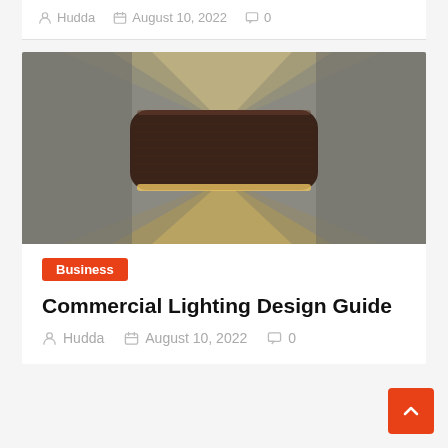Hudda   August 10, 2022   0
[Figure (photo): A wall-mounted sconce light fixture with a dark wood-grain rectangular shade, emitting warm light upward and downward against a gray wall.]
Business
Commercial Lighting Design Guide
Hudda   August 10, 2022   0